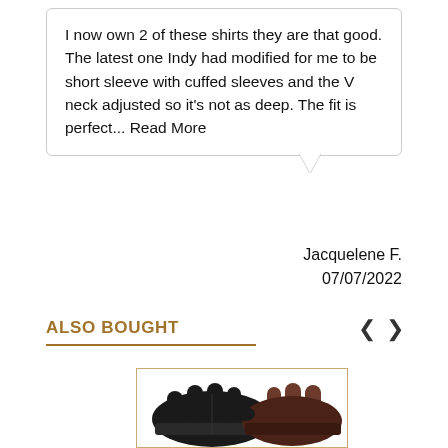I now own 2 of these shirts they are that good. The latest one Indy had modified for me to be short sleeve with cuffed sleeves and the V neck adjusted so it's not as deep. The fit is perfect... Read More
Jacquelene F.
07/07/2022
ALSO BOUGHT
[Figure (photo): A pair of black and brown leather gloves displayed flat against a white background inside a bordered product image box.]